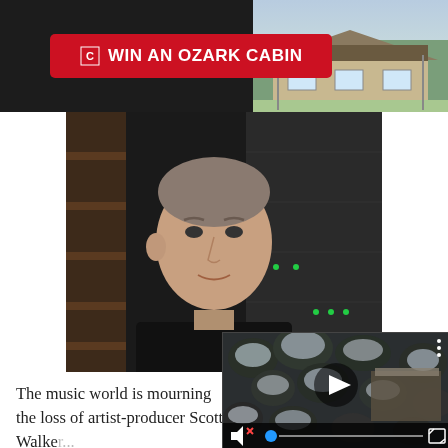[Figure (photo): Advertisement banner: red button with white text 'WIN AN OZARK CABIN' on dark background, with a photo of a cabin/lodge on the right side]
[Figure (photo): Video still of a middle-aged man with short gray-brown hair wearing a black shirt, speaking in what appears to be a studio or recording environment with shelving/equipment in the background]
The music world is mourning the loss of artist-producer Scott Walker, after label AB confirmed his death. “It is with great sadness that we announce the death of Scott Walker,” AB said. Walker is survived by his daughter, Lee Walker Emmi-Lee, and his partner Beverly. Walker’s death was mentioned
[Figure (screenshot): Overlapping video thumbnail showing aerial/drone view of snow-covered trees and a structure, with video playback controls (play button, mute icon, progress bar, fullscreen button)]